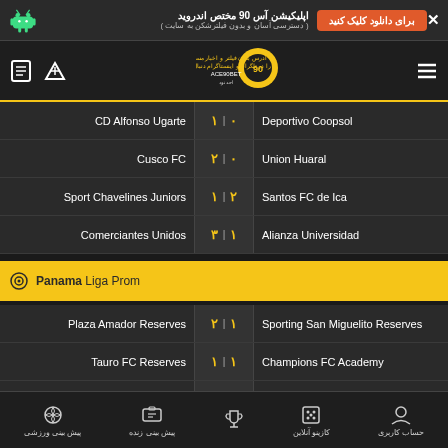اپلیکیشن آس 90 مختص اندروید (دسترسی آسان و بدون فیلترشکن به سایت) - برای دانلود کلیک کنید
[Figure (screenshot): ACE90BET website logo with navigation icons (document, filter, hamburger menu)]
| Home Team | Score | Away Team |
| --- | --- | --- |
| CD Alfonso Ugarte | ۱ - ۰ | Deportivo Coopsol |
| Cusco FC | ۲ - ۰ | Union Huaral |
| Sport Chavelines Juniors | ۱ - ۲ | Santos FC de Ica |
| Comerciantes Unidos | ۳ - ۱ | Alianza Universidad |
Panama Liga Prom
| Home Team | Score | Away Team |
| --- | --- | --- |
| Plaza Amador Reserves | ۲ - ۱ | Sporting San Miguelito Reserves |
| Tauro FC Reserves | ۱ - ۱ | Champions FC Academy |
| Universidad de Panama | ۲ - ۰ | Union Cocle |
Panama LPF
حساب کاربری | کازینو آنلاین | پیش بینی زنده | پیش بینی ورزشی